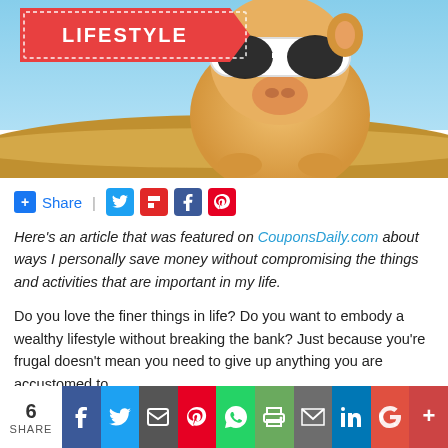[Figure (photo): Piggy bank wearing sunglasses on a beach with a 'LIFESTYLE' badge overlay in the top left corner]
+ Share | [Twitter] [Flipboard] [Facebook] [Pinterest]
Here's an article that was featured on CouponsDaily.com about ways I personally save money without compromising the things and activities that are important in my life.
Do you love the finer things in life? Do you want to embody a wealthy lifestyle without breaking the bank? Just because you're frugal doesn't mean you need to give up anything you are accustomed to.
Some of the wealthiest people in the world are frugal and most live below their means. For example, Warren Buffet still lives in the same
6 SHARE | Facebook | Twitter | Email | Pinterest | WhatsApp | Print | Gmail | LinkedIn | Google | More